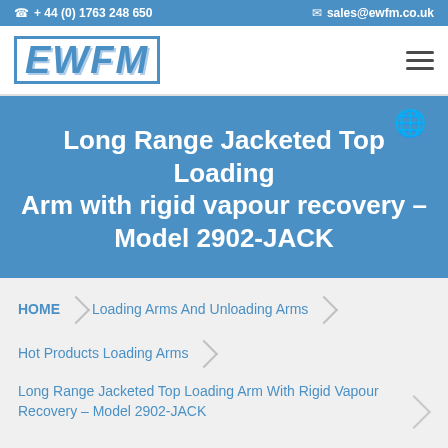☎ + 44 (0) 1763 248 650   ✉ sales@ewfm.co.uk
[Figure (logo): EWFM company logo in blue italic bold text with border]
Long Range Jacketed Top Loading Arm with rigid vapour recovery – Model 2902-JACK
HOME › Loading Arms And Unloading Arms
Hot Products Loading Arms
Long Range Jacketed Top Loading Arm With Rigid Vapour Recovery – Model 2902-JACK